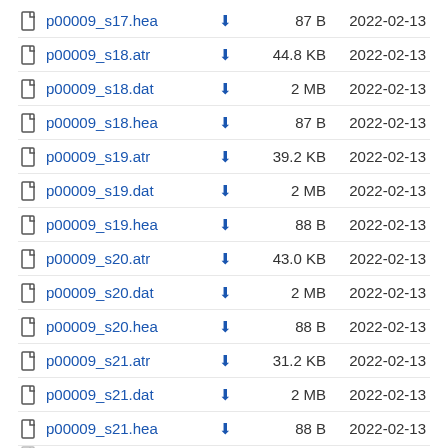p00009_s17.hea  87 B  2022-02-13
p00009_s18.atr  44.8 KB  2022-02-13
p00009_s18.dat  2 MB  2022-02-13
p00009_s18.hea  87 B  2022-02-13
p00009_s19.atr  39.2 KB  2022-02-13
p00009_s19.dat  2 MB  2022-02-13
p00009_s19.hea  88 B  2022-02-13
p00009_s20.atr  43.0 KB  2022-02-13
p00009_s20.dat  2 MB  2022-02-13
p00009_s20.hea  88 B  2022-02-13
p00009_s21.atr  31.2 KB  2022-02-13
p00009_s21.dat  2 MB  2022-02-13
p00009_s21.hea  88 B  2022-02-13